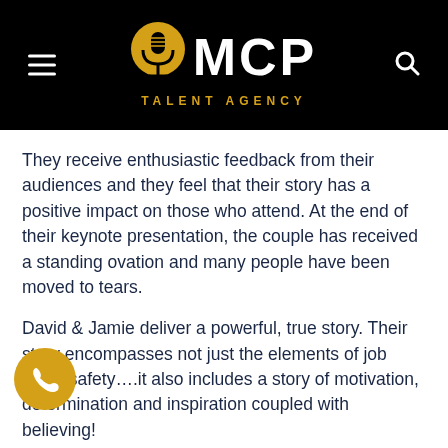MCP TALENT AGENCY
They receive enthusiastic feedback from their audiences and they feel that their story has a positive impact on those who attend. At the end of their keynote presentation, the couple has received a standing ovation and many people have been moved to tears.
David & Jamie deliver a powerful, true story. Their story encompasses not just the elements of job place safety….it also includes a story of motivation, determination and inspiration coupled with believing!
Their story has a lasting impact and can be tailored to your specific group or organization.